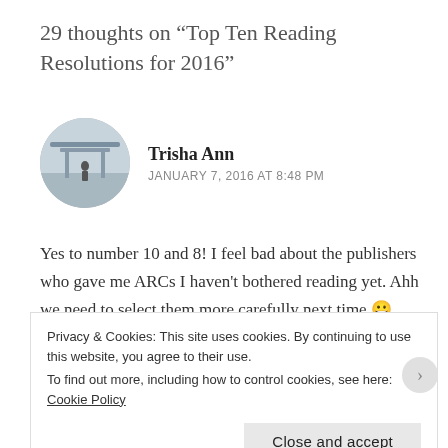29 thoughts on “Top Ten Reading Resolutions for 2016”
Trisha Ann
JANUARY 7, 2016 AT 8:48 PM
Yes to number 10 and 8! I feel bad about the publishers who gave me ARCs I haven't bothered reading yet. Ahh we need to select them more carefully next time 😀
Liked by 1 person
Privacy & Cookies: This site uses cookies. By continuing to use this website, you agree to their use.
To find out more, including how to control cookies, see here: Cookie Policy
Close and accept